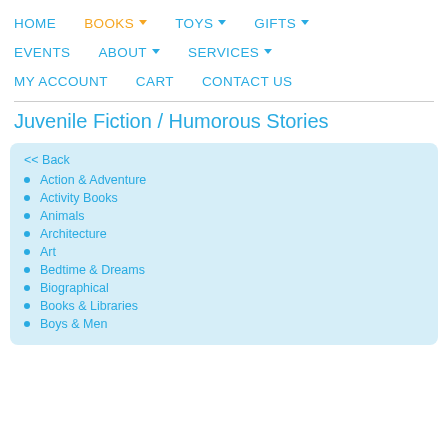HOME | BOOKS ▾ | TOYS ▾ | GIFTS ▾ | EVENTS | ABOUT ▾ | SERVICES ▾ | MY ACCOUNT | CART | CONTACT US
Juvenile Fiction / Humorous Stories
<< Back
Action & Adventure
Activity Books
Animals
Architecture
Art
Bedtime & Dreams
Biographical
Books & Libraries
Boys & Men